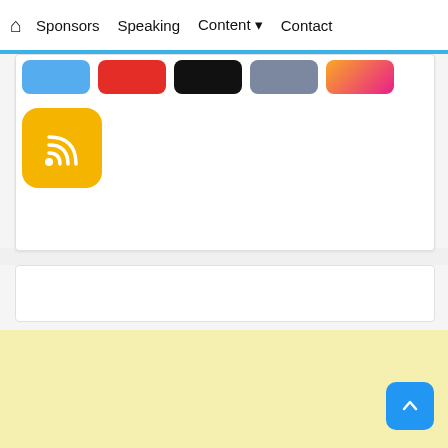🏠 Sponsors Speaking Content ▾ Contact
[Figure (screenshot): Social media icon buttons row: Twitter (blue), YouTube (red), X (black), Tumblr (purple), Instagram (gradient orange-pink)]
[Figure (logo): RSS feed icon button — orange/yellow rounded square with white RSS signal symbol]
[Figure (other): Scroll-to-top button — blue rounded square with white upward arrow, bottom-right corner]